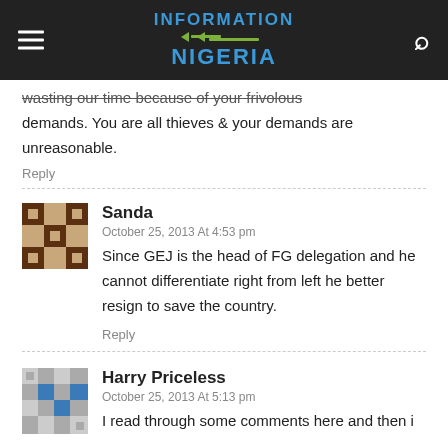INFORMATION NIGERIA
wasting our time because of your frivolous demands. You are all thieves & your demands are unreasonable.
Reply
Sanda
October 25, 2013 At 4:53 pm
Since GEJ is the head of FG delegation and he cannot differentiate right from left he better resign to save the country.
Reply
Harry Priceless
October 25, 2013 At 5:13 pm
I read through some comments here and then i